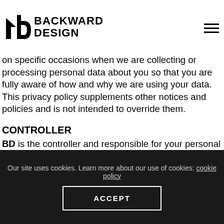Backward Design
on specific occasions when we are collecting or processing personal data about you so that you are fully aware of how and why we are using your data. This privacy policy supplements other notices and policies and is not intended to override them.
CONTROLLER
BD is the controller and responsible for your personal data (collectively referred to as “BD”, “we”, “us” or “our” in this privacy policy). We have appointed a data protection officer (DPO) who is responsible for overseeing questions in relation
Our site uses cookies. Learn more about our use of cookies: cookie policy ACCEPT